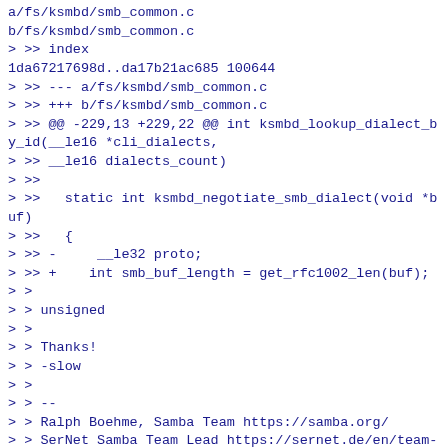a/fs/ksmbd/smb_common.c
b/fs/ksmbd/smb_common.c
> >> index
1da67217698d..da17b21ac685 100644
> >> --- a/fs/ksmbd/smb_common.c
> >> +++ b/fs/ksmbd/smb_common.c
> >> @@ -229,13 +229,22 @@ int ksmbd_lookup_dialect_by_id(__le16 *cli_dialects,
> >> __le16 dialects_count)
> >>
> >>   static int ksmbd_negotiate_smb_dialect(void *buf)
> >>   {
> >> -     __le32 proto;
> >> +    int smb_buf_length = get_rfc1002_len(buf);
> >
> > unsigned
> >
> > Thanks!
> > -slow
> >
> > --
> > Ralph Boehme, Samba Team https://samba.org/
> > SerNet Samba Team Lead https://sernet.de/en/team-samba
> >